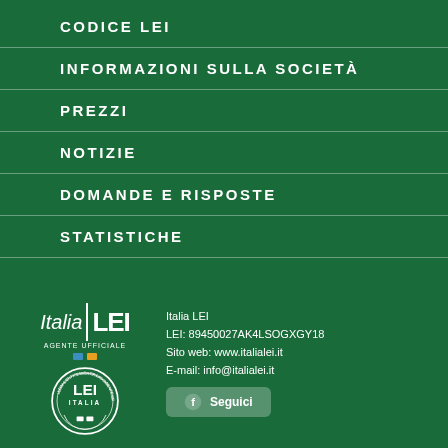CODICE LEI
INFORMAZIONI SULLA SOCIETÀ
PREZZI
NOTIZIE
DOMANDE E RISPOSTE
STATISTICHE
[Figure (logo): Italia LEI logo with 'Agente Ufficiale' text and two colored squares, alongside a circular LEI ITALIA stamp]
Italia LEI
LEI: 89450027AK4LSOGXGY18
Sito web: www.italialei.it
E-mail: info@italialei.it
Seguici